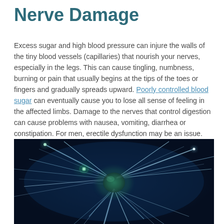Nerve Damage
Excess sugar and high blood pressure can injure the walls of the tiny blood vessels (capillaries) that nourish your nerves, especially in the legs. This can cause tingling, numbness, burning or pain that usually begins at the tips of the toes or fingers and gradually spreads upward. Poorly controlled blood sugar can eventually cause you to lose all sense of feeling in the affected limbs. Damage to the nerves that control digestion can cause problems with nausea, vomiting, diarrhea or constipation. For men, erectile dysfunction may be an issue.
[Figure (illustration): A dark blue/teal scientific illustration of a neuron (nerve cell) showing the cell body and branching dendrites/axons with glowing light points at synaptic connections, against a dark navy background.]